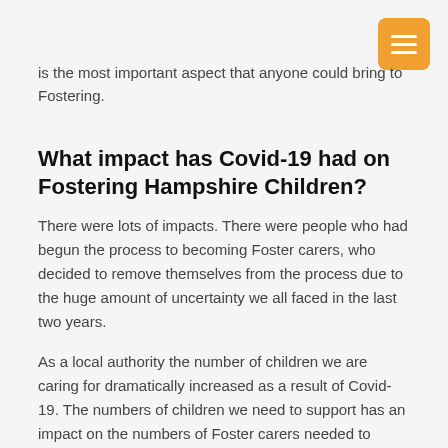is the most important aspect that anyone could bring to Fostering.
What impact has Covid-19 had on Fostering Hampshire Children?
There were lots of impacts. There were people who had begun the process to becoming Foster carers, who decided to remove themselves from the process due to the huge amount of uncertainty we all faced in the last two years.
As a local authority the number of children we are caring for dramatically increased as a result of Covid-19. The numbers of children we need to support has an impact on the numbers of Foster carers needed to support them to prevent them from going out of our local authority so that local people are caring for local children.